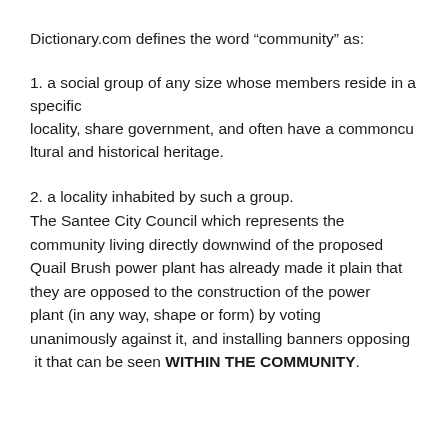Dictionary.com defines the word “community” as:
1. a social group of any size whose members reside in a specific locality, share government, and often have a commoncu ltural and historical heritage.
2. a locality inhabited by such a group. The Santee City Council which represents the community living directly downwind of the proposed Quail Brush power plant has already made it plain that they are opposed to the construction of the power plant (in any way, shape or form) by voting unanimously against it, and installing banners opposing it that can be seen WITHIN THE COMMUNITY.